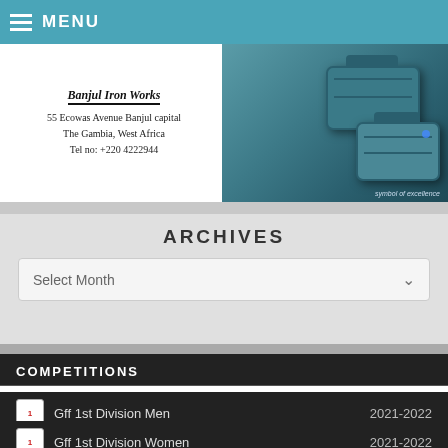MENU
[Figure (illustration): Banner with address text: 55 Ecowas Avenue Banjul capital, The Gambia, West Africa, Tel no: +220 4222944, alongside image of dark teal briefcases/luggage]
ARCHIVES
Select Month
COMPETITIONS
Gff 1st Division Men  2021-2022
Gff 1st Division Women  2021-2022
Gff 2nd Division Men  2021-2022
Gff 3rd Division Men  2021-2022